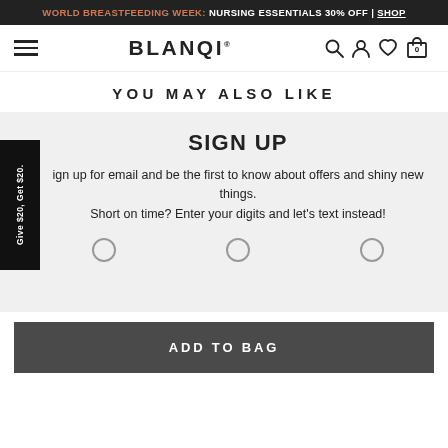WORLD BREASTFEEDING WEEK: NURSING ESSENTIALS 30% OFF | SHOP
[Figure (screenshot): BLANQI e-commerce website navigation bar with hamburger menu, BLANQI logo, search icon, user icon, heart/wishlist icon, and cart icon showing 0]
YOU MAY ALSO LIKE
Give $20, Get $20.
SIGN UP
Sign up for email and be the first to know about offers and shiny new things. Short on time? Enter your digits and let's text instead!
ADD TO BAG